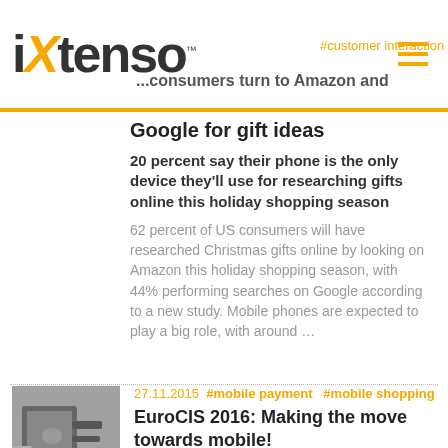iXtenso — #customer interaction #mobile shopping — consumers turn to Amazon and
Google for gift ideas
20 percent say their phone is the only device they'll use for researching gifts online this holiday shopping season
62 percent of US consumers will have researched Christmas gifts online by looking on Amazon this holiday shopping season, with 44% performing searches on Google according to a new study. Mobile phones are expected to play a big role, with around …
[Figure (photo): Hand holding a mobile payment device or scanner]
27.11.2015 #mobile payment #mobile shopping
EuroCIS 2016: Making the move towards mobile!
Everyone's talking about mobile payment – only consumers aren't (yet)